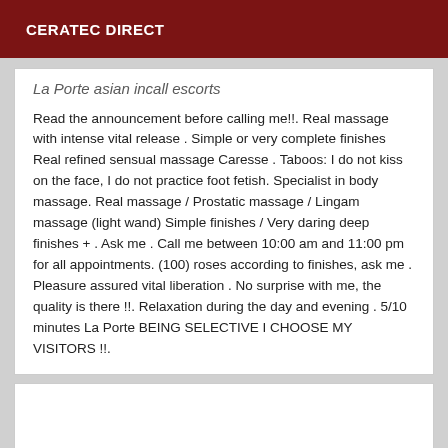CERATEC DIRECT
La Porte asian incall escorts
Read the announcement before calling me!!. Real massage with intense vital release . Simple or very complete finishes Real refined sensual massage Caresse . Taboos: I do not kiss on the face, I do not practice foot fetish. Specialist in body massage. Real massage / Prostatic massage / Lingam massage (light wand) Simple finishes / Very daring deep finishes + . Ask me . Call me between 10:00 am and 11:00 pm for all appointments. (100) roses according to finishes, ask me . Pleasure assured vital liberation . No surprise with me, the quality is there !!. Relaxation during the day and evening . 5/10 minutes La Porte BEING SELECTIVE I CHOOSE MY VISITORS !!.